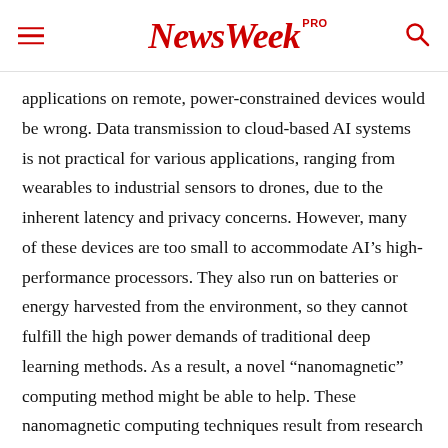NewsWeek PRO
applications on remote, power-constrained devices would be wrong. Data transmission to cloud-based AI systems is not practical for various applications, ranging from wearables to industrial sensors to drones, due to the inherent latency and privacy concerns. However, many of these devices are too small to accommodate AI’s high-performance processors. They also run on batteries or energy harvested from the environment, so they cannot fulfill the high power demands of traditional deep learning methods. As a result, a novel “nanomagnetic” computing method might be able to help. These nanomagnetic computing techniques result from research into novel hardware and computing technologies that allow AI to be run on smaller distant platforms. The human brain, capable of tremendous processing feats while using the same amount of electricity as a light bulb, has